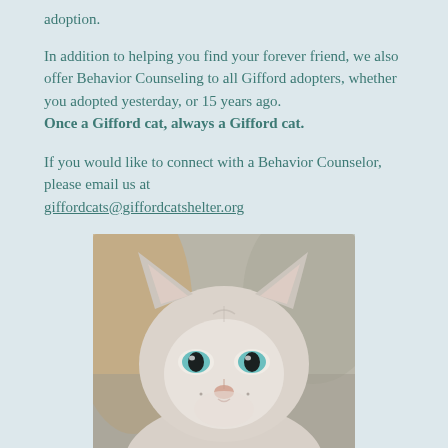adoption.
In addition to helping you find your forever friend, we also offer Behavior Counseling to all Gifford adopters, whether you adopted yesterday, or 15 years ago.
Once a Gifford cat, always a Gifford cat.
If you would like to connect with a Behavior Counselor, please email us at giffordcats@giffordcatshelter.org
[Figure (photo): Close-up photo of a light gray/white cat with striking blue eyes looking directly at the camera, with a blurred background.]